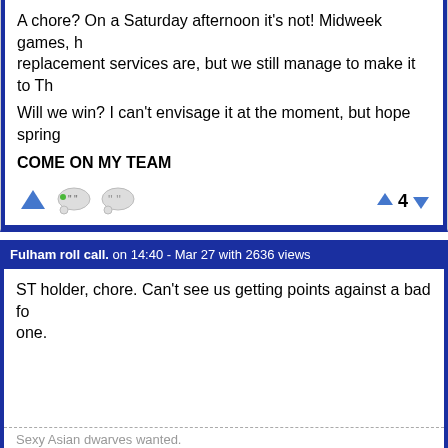A chore? On a Saturday afternoon it's not! Midweek games, however replacement services are, but we still manage to make it to Th...
Will we win? I can't envisage it at the moment, but hope spring...
COME ON MY TEAM
Fulham roll call. on 14:40 - Mar 27 with 2636 views
ST holder, chore. Can't see us getting points against a bad fo one.
Sexy Asian dwarves wanted.
Fulham roll call. on 14:51 - Mar 27 with 2627 views